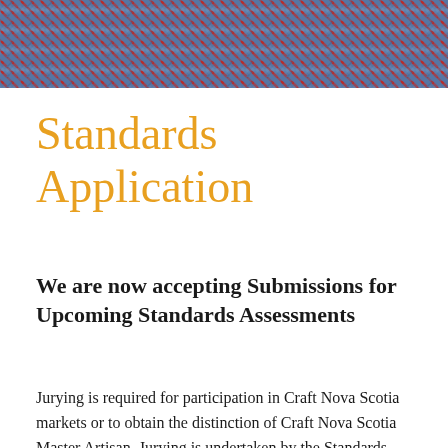[Figure (photo): Close-up photograph of blue and red woven textile/fabric with a herringbone or tweed pattern, serving as a decorative header banner image.]
Standards Application
We are now accepting Submissions for Upcoming Standards Assessments
Jurying is required for participation in Craft Nova Scotia markets or to obtain the distinction of Craft Nova Scotia Master Artisan. Jurying is undertaken by the Standards